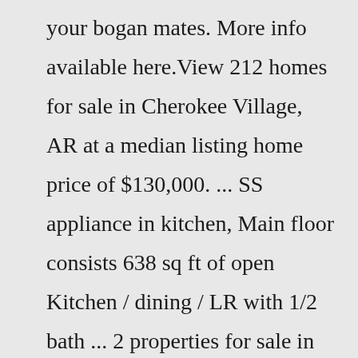your bogan mates. More info available here.View 212 homes for sale in Cherokee Village, AR at a median listing home price of $130,000. ... SS appliance in kitchen, Main floor consists 638 sq ft of open Kitchen / dining / LR with 1/2 bath ... 2 properties for sale in Melbourne. Oversized central one bedroom apartment with study. melbourne, MELBOURNE. Price enquiry. 2 rooms.Used HOLDEN UTE Utes For Sale.